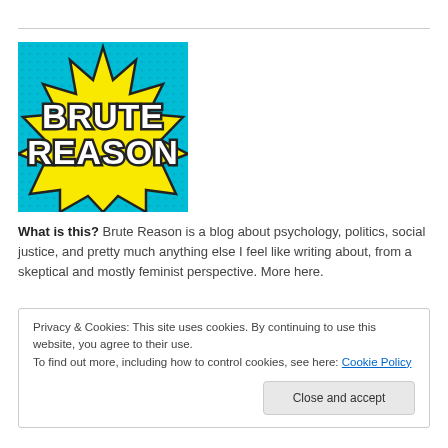[Figure (logo): Brute Reason blog logo: comic-book style yellow starburst on cyan/blue dotted background with bold white outlined text reading BRUTE REASON]
What is this? Brute Reason is a blog about psychology, politics, social justice, and pretty much anything else I feel like writing about, from a skeptical and mostly feminist perspective. More here.
Privacy & Cookies: This site uses cookies. By continuing to use this website, you agree to their use.
To find out more, including how to control cookies, see here: Cookie Policy
Close and accept